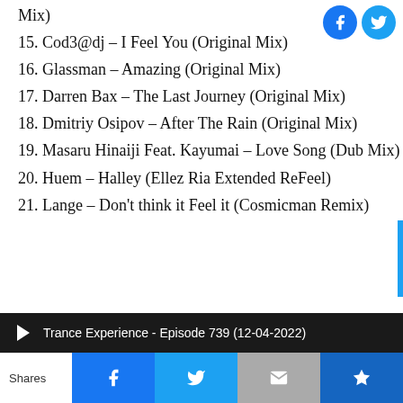Mix)
[Figure (logo): Facebook and Twitter social icons (circles) top right]
15. Cod3@dj – I Feel You (Original Mix)
16. Glassman – Amazing (Original Mix)
17. Darren Bax – The Last Journey (Original Mix)
18. Dmitriy Osipov – After The Rain (Original Mix)
19. Masaru Hinaiji Feat. Kayumai – Love Song (Dub Mix)
20. Huem – Halley (Ellez Ria Extended ReFeel)
21. Lange – Don't think it Feel it (Cosmicman Remix)
Trance Experience - Episode 739 (12-04-2022)
Shares | Facebook | Twitter | Mail | Crown